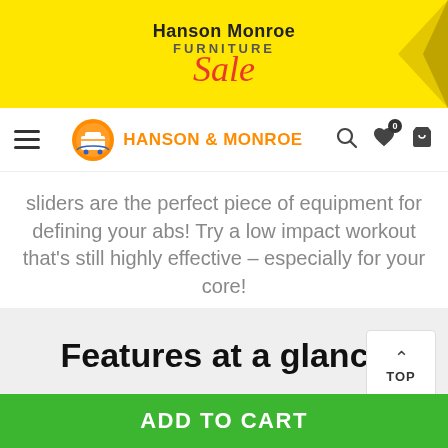[Figure (logo): Hanson Monroe Furniture Sale ad banner on yellow background with red sale script text and decorative arrow]
HANSON & MONROE
sliders are the perfect piece of equipment for defining your abs! Try a low impact workout that's still highly effective – especially for your core!
Features at a glance
[Figure (other): TOP back-to-top button widget]
[Figure (other): Two circular product feature icons partially visible at bottom]
ADD TO CART